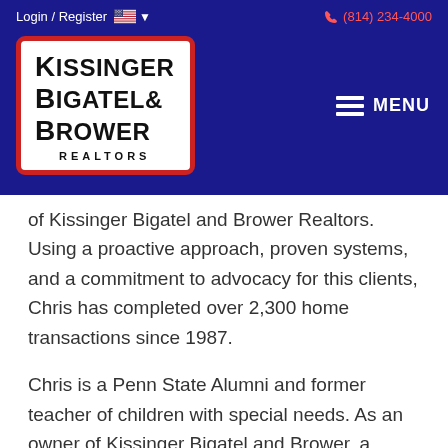Login / Register   🇺🇸 ▾   (814) 234-4000
[Figure (logo): Kissinger Bigatel & Brower Realtors logo in white box with red border on dark blue navigation bar, with hamburger MENU button on right]
of Kissinger Bigatel and Brower Realtors. Using a proactive approach, proven systems, and a commitment to advocacy for this clients, Chris has completed over 2,300 home transactions since 1987.
Chris is a Penn State Alumni and former teacher of children with special needs. As an owner of Kissinger Bigatel and Brower, a passion of Chris' is teaching fellow Realtors how to more effectively serve their clients to achieve their real estate goals. Chris has been "Centre County Realtor of the Year," holds numerous designations such as Corfified Residential Specialist